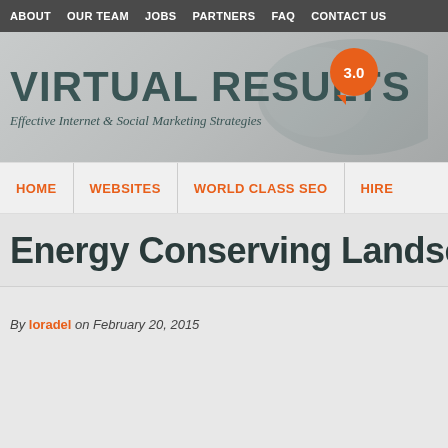ABOUT  OUR TEAM  JOBS  PARTNERS  FAQ  CONTACT US
[Figure (logo): Virtual Results 3.0 logo with speech bubble badge and tagline 'Effective Internet & Social Marketing Strategies']
HOME  WEBSITES  WORLD CLASS SEO  HIRE
Energy Conserving Landscap
By loradel on February 20, 2015